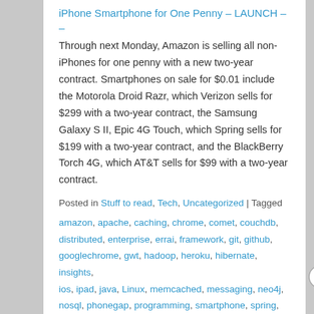iPhone Smartphone for One Penny – LAUNCH – –
Through next Monday, Amazon is selling all non-iPhones for one penny with a new two-year contract. Smartphones on sale for $0.01 include the Motorola Droid Razr, which Verizon sells for $299 with a two-year contract, the Samsung Galaxy S II, Epic 4G Touch, which Spring sells for $199 with a two-year contract, and the BlackBerry Torch 4G, which AT&T sells for $99 with a two-year contract.
Posted in Stuff to read, Tech, Uncategorized | Tagged amazon, apache, caching, chrome, comet, couchdb, distributed, enterprise, errai, framework, git, github, googlechrome, gwt, hadoop, heroku, hibernate, insights, ios, ipad, java, Linux, memcached, messaging, neo4j, nosql, phonegap, programming, smartphone, spring, springdata, SpringFramework, SQL, Tech, technology, trends | Leave a reply
Advertisements
Professionally designed sites in less than a week